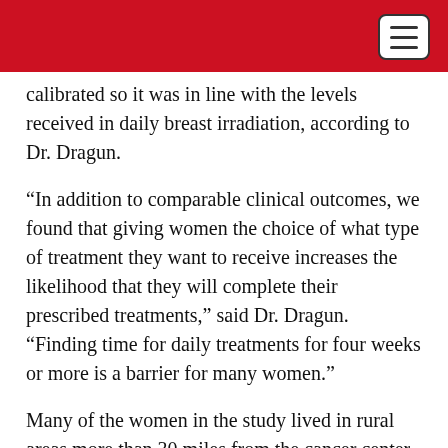calibrated so it was in line with the levels received in daily breast irradiation, according to Dr. Dragun.
“In addition to comparable clinical outcomes, we found that giving women the choice of what type of treatment they want to receive increases the likelihood that they will complete their prescribed treatments,” said Dr. Dragun. “Finding time for daily treatments for four weeks or more is a barrier for many women.”
Many of the women in the study lived in rural areas more than 30 miles from the cancer center or relied on public transportation to get to appointments.